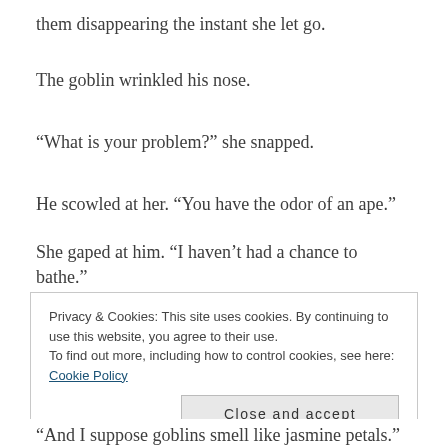them disappearing the instant she let go.
The goblin wrinkled his nose.
“What is your problem?” she snapped.
He scowled at her. “You have the odor of an ape.”
She gaped at him. “I haven’t had a chance to bathe.”
“Elves always smell like apes.”
Privacy & Cookies: This site uses cookies. By continuing to use this website, you agree to their use.
To find out more, including how to control cookies, see here: Cookie Policy
Close and accept
“And I suppose goblins smell like jasmine petals.”